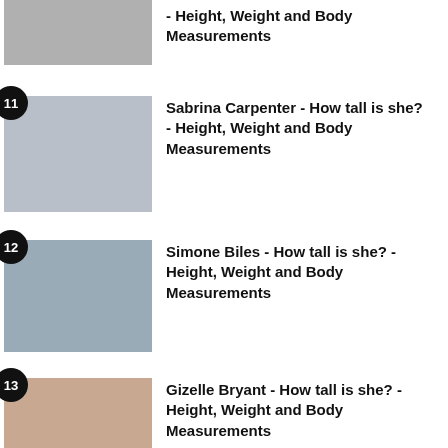- Height, Weight and Body Measurements
11 Sabrina Carpenter - How tall is she? - Height, Weight and Body Measurements
12 Simone Biles - How tall is she? - Height, Weight and Body Measurements
13 Gizelle Bryant - How tall is she? - Height, Weight and Body Measurements